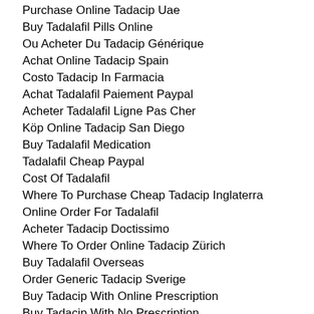Purchase Online Tadacip Uae
Buy Tadalafil Pills Online
Ou Acheter Du Tadacip Générique
Achat Online Tadacip Spain
Costo Tadacip In Farmacia
Achat Tadalafil Paiement Paypal
Acheter Tadalafil Ligne Pas Cher
Köp Online Tadacip San Diego
Buy Tadalafil Medication
Tadalafil Cheap Paypal
Cost Of Tadalafil
Where To Purchase Cheap Tadacip Inglaterra
Online Order For Tadalafil
Acheter Tadacip Doctissimo
Where To Order Online Tadacip Zürich
Buy Tadalafil Overseas
Order Generic Tadacip Sverige
Buy Tadacip With Online Prescription
Buy Tadacip With No Prescription